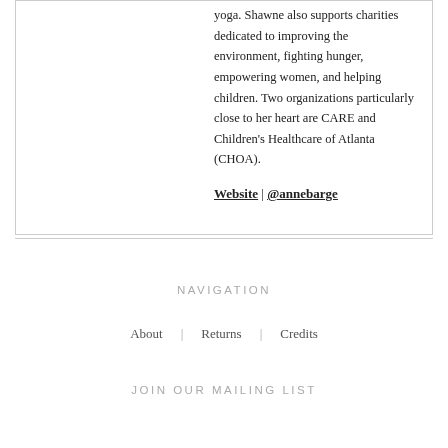yoga. Shawne also supports charities dedicated to improving the environment, fighting hunger, empowering women, and helping children. Two organizations particularly close to her heart are CARE and Children's Healthcare of Atlanta (CHOA).
Website | @annebarge
NAVIGATION
About
Returns
Credits
JOIN OUR MAILING LIST